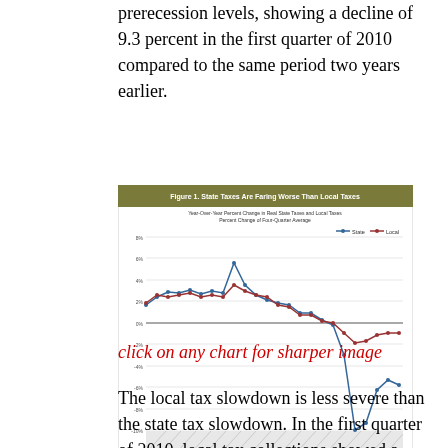prerecession levels, showing a decline of 9.3 percent in the first quarter of 2010 compared to the same period two years earlier.
[Figure (line-chart): Year-Over-Year Percent Change in Real State Taxes and Local Taxes, Percent Change of Four-Quarter Average. Two lines: State (blue/dark) and Local (red). State line drops sharply around 2008-2009 to about -10%, then recovers partially. Local line declines more gradually, staying around -1% to -2%.]
click on any chart for sharper image
The local tax slowdown is less severe than the state tax slowdown. In the first quarter of 2010, local tax collections showed a decline of 1.1